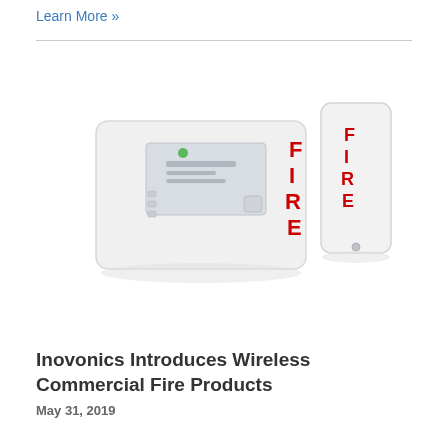Learn More »
[Figure (photo): Two white wireless commercial fire alarm devices: a larger rectangular panel unit on the left with a small display and the word FIRE in red lettering, and a smaller tall narrow pull station unit on the right also labeled FIRE in red lettering.]
Inovonics Introduces Wireless Commercial Fire Products
May 31, 2019